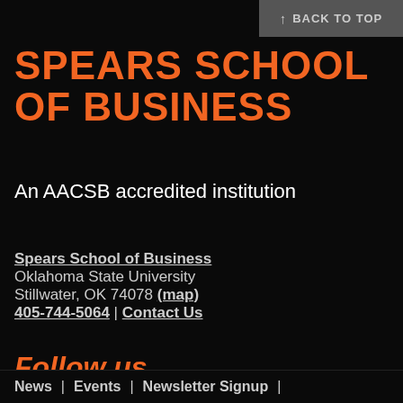↑ BACK TO TOP
SPEARS SCHOOL OF BUSINESS
An AACSB accredited institution
Spears School of Business
Oklahoma State University
Stillwater, OK 74078 (map)
405-744-5064 | Contact Us
Follow us
News | Events | Newsletter Signup |